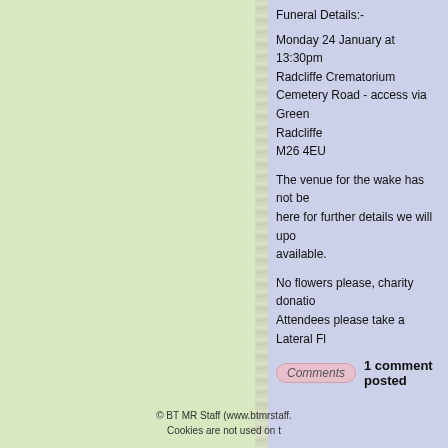Funeral Details:-

Monday 24 January at 13:30pm
Radcliffe Crematorium
Cemetery Road - access via Green...
Radcliffe
M26 4EU

The venue for the wake has not be... here for further details we will upo... available.

No flowers please, charity donatio...
Attendees please take a Lateral Fl...
Comments   1 comment posted
Page 2 of 33
««First  «Previous  Next›  Last»»
© BT MR Staff (www.btmrstaff...)
Cookies are not used on t...